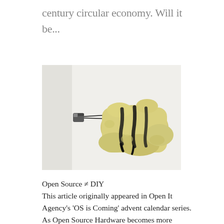century circular economy. Will it be...
[Figure (photo): A photo of an unusual sculptural object: a yellowish-cream foam-like rectangular mass with black streaks/marks, connected by a thin black cord to a small dark metallic cube/connector piece, on a white background.]
Open Source ≠ DIY
This article originally appeared in Open It Agency's 'OS is Coming' advent calendar series. As Open Source Hardware becomes more